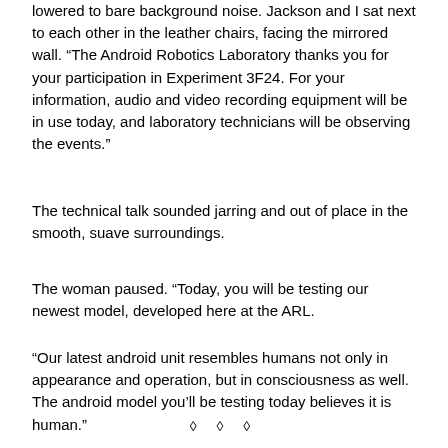lowered to bare background noise. Jackson and I sat next to each other in the leather chairs, facing the mirrored wall. “The Android Robotics Laboratory thanks you for your participation in Experiment 3F24. For your information, audio and video recording equipment will be in use today, and laboratory technicians will be observing the events.”
The technical talk sounded jarring and out of place in the smooth, suave surroundings.
The woman paused. “Today, you will be testing our newest model, developed here at the ARL.
“Our latest android unit resembles humans not only in appearance and operation, but in consciousness as well. The android model you’ll be testing today believes it is human.”
◇ ◇ ◇